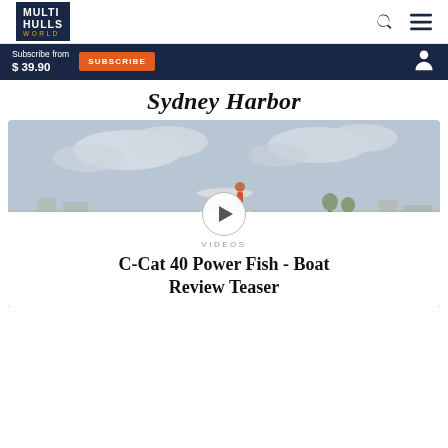MULTI HULLS WORLD — navigation bar with search and menu icons
Subscribe from $39.90 SUBSCRIBE
Sydney Harbor
[Figure (photo): A white power catamaran (C-Cat 40 Power Fish) cruising on calm water with a person on the upper helm station, buildings and trees visible in the background.]
VIDEOS
C-Cat 40 Power Fish - Boat Review Teaser